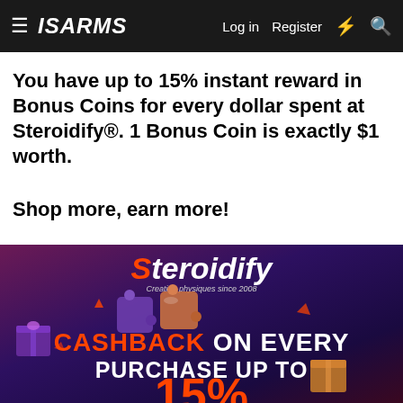≡ ISARMS  Log in  Register  ⚡  🔍
You have up to 15% instant reward in Bonus Coins for every dollar spent at Steroidify®. 1 Bonus Coin is exactly $1 worth.
Shop more, earn more!
[Figure (illustration): Steroidify promotional banner with purple/dark gradient background, logo at top, 3D gift boxes and puzzle pieces, text reading CASHBACK ON EVERY PURCHASE UP TO 15%]